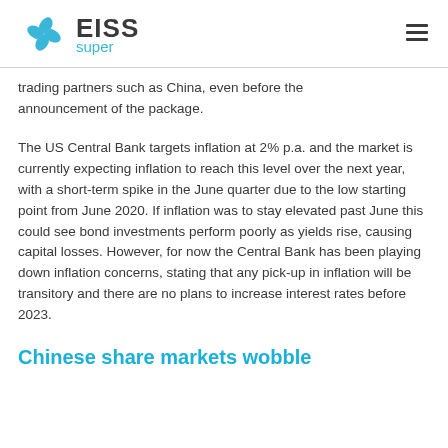EISS super
trading partners such as China, even before the announcement of the package.
The US Central Bank targets inflation at 2% p.a. and the market is currently expecting inflation to reach this level over the next year, with a short-term spike in the June quarter due to the low starting point from June 2020. If inflation was to stay elevated past June this could see bond investments perform poorly as yields rise, causing capital losses. However, for now the Central Bank has been playing down inflation concerns, stating that any pick-up in inflation will be transitory and there are no plans to increase interest rates before 2023.
Chinese share markets wobble